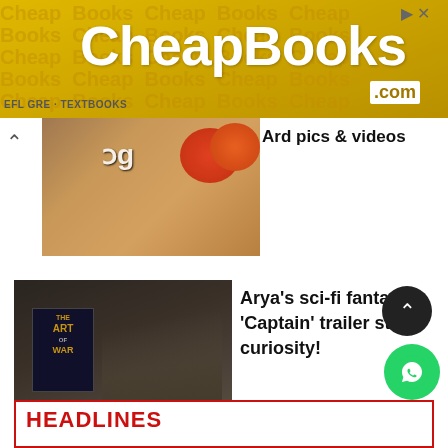[Figure (screenshot): CheapBooks.com advertisement banner with yellow background and large white bold text]
[Figure (photo): Article thumbnail: person holding a book, blurry background]
Arya's sci-fi fantasy 'Captain' trailer stirs curiosity!
[Figure (photo): Article thumbnail: two men smiling together, warm orange background]
Breaking! Dhanush shows his admiration for Rajinikanth - Fans go crazy
HEADLINES